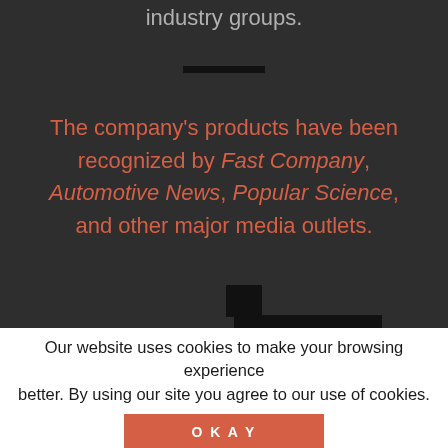industry groups.
The company’s products have been recognized by Fast Company, Automotive News, Popular Science, and other major media outlets.
[Figure (other): Redacted/blurred social sharing icons and decorative blocks on dark background]
Our website uses cookies to make your browsing experience better. By using our site you agree to our use of cookies.
OKAY